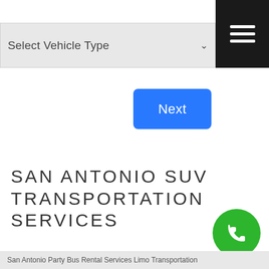[Figure (screenshot): Select Vehicle Type dropdown bar with chevron and black hamburger menu button in top right]
[Figure (screenshot): Blue Next button]
SAN ANTONIO SUV TRANSPORTATION SERVICES
[Figure (screenshot): Green phone call button (circle) in bottom right]
San Antonio Party Bus Rental Services Limo Transportation